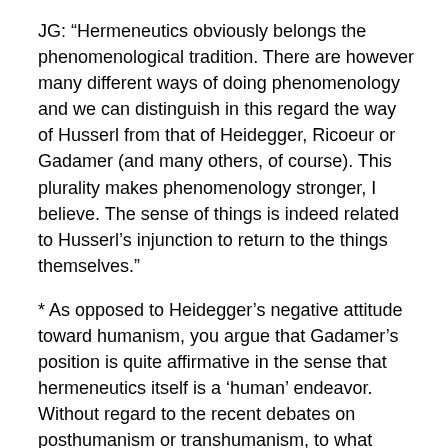JG: “Hermeneutics obviously belongs the phenomenological tradition. There are however many different ways of doing phenomenology and we can distinguish in this regard the way of Husserl from that of Heidegger, Ricoeur or Gadamer (and many others, of course). This plurality makes phenomenology stronger, I believe. The sense of things is indeed related to Husserl’s injunction to return to the things themselves.”
* As opposed to Heidegger’s negative attitude toward humanism, you argue that Gadamer’s position is quite affirmative in the sense that hermeneutics itself is a ‘human’ endeavor. Without regard to the recent debates on posthumanism or transhumanism, to what extent do we need a humanistic point of view?
JG: “Gadamer’s position is indeed quite affirmative in that he began his major work Truth and Method with a